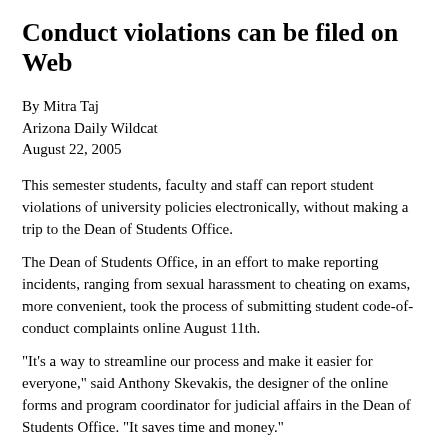Conduct violations can be filed on Web
By Mitra Taj
Arizona Daily Wildcat
August 22, 2005
This semester students, faculty and staff can report student violations of university policies electronically, without making a trip to the Dean of Students Office.
The Dean of Students Office, in an effort to make reporting incidents, ranging from sexual harassment to cheating on exams, more convenient, took the process of submitting student code-of-conduct complaints online August 11th.
"It's a way to streamline our process and make it easier for everyone," said Anthony Skevakis, the designer of the online forms and program coordinator for judicial affairs in the Dean of Students Office. "It saves time and money."
Skevakis said offering code-of-conduct complaint forms electronically didn't cost anything and is expected to save the university about $200 in paperwork per year.